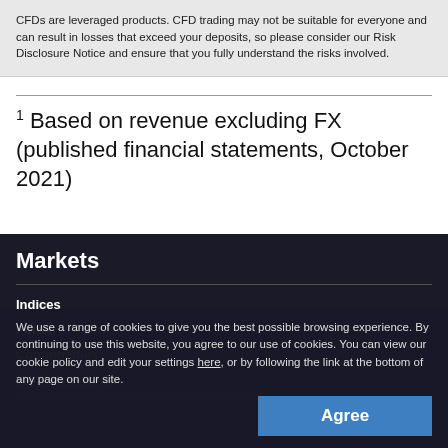CFDs are leveraged products. CFD trading may not be suitable for everyone and can result in losses that exceed your deposits, so please consider our Risk Disclosure Notice and ensure that you fully understand the risks involved.
1 Based on revenue excluding FX (published financial statements, October 2021)
Markets
Indices
Forex
Commodities
CFD trading
We use a range of cookies to give you the best possible browsing experience. By continuing to use this website, you agree to our use of cookies. You can view our cookie policy and edit your settings here, or by following the link at the bottom of any page on our site.